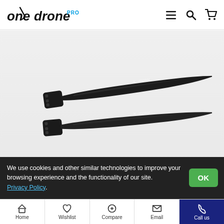onedrone PRO
[Figure (photo): Two black folding drone propeller blades lying flat, with T-Motor / X-class branding visible on the surface, against a light gray/white background.]
We use cookies and other similar technologies to improve your browsing experience and the functionality of our site. Privacy Policy.
T-MOTOR MF2815 28.4X10.1 FOLDING PROP PAIR
Home  Wishlist  Compare  Email  Call us